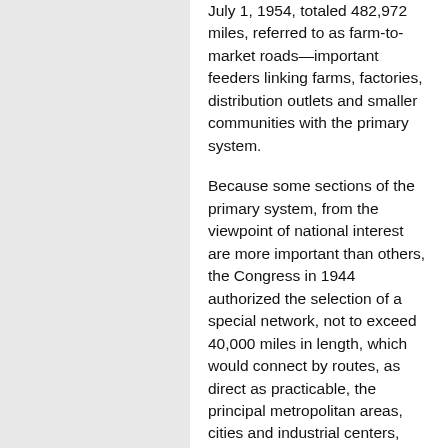July 1, 1954, totaled 482,972 miles, referred to as farm-to-market roads—important feeders linking farms, factories, distribution outlets and smaller communities with the primary system.
Because some sections of the primary system, from the viewpoint of national interest are more important than others, the Congress in 1944 authorized the selection of a special network, not to exceed 40,000 miles in length, which would connect by routes, as direct as practicable, the principal metropolitan areas, cities and industrial centers, serve the national defense, and connect with routes of continental importance in the Dominion of Canada and the Republic of Mexico.
This Network Grew out of the